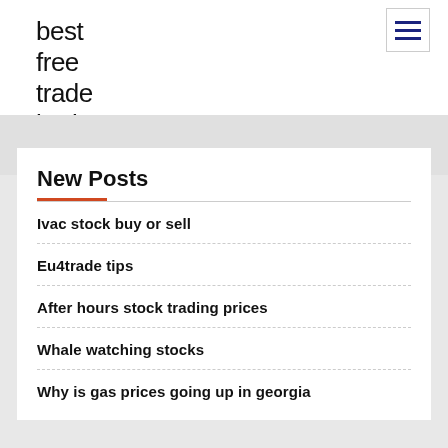best free trade brokers
subway franchise india return on investment
New Posts
Ivac stock buy or sell
Eu4trade tips
After hours stock trading prices
Whale watching stocks
Why is gas prices going up in georgia